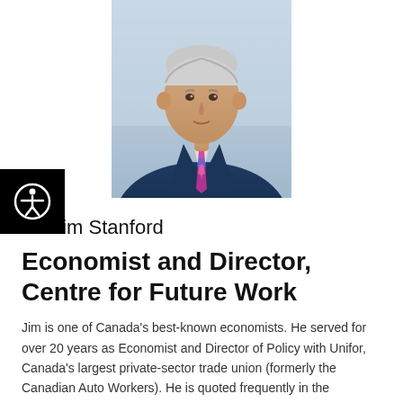[Figure (photo): Professional headshot of Dr. Jim Stanford, a middle-aged man with grey-white hair wearing a dark blue suit jacket and a colorful patterned tie, photographed against a light background.]
[Figure (logo): Accessibility icon — a circular person with arms outstretched inside a circle, white on black background.]
Dr. Jim Stanford
Economist and Director, Centre for Future Work
Jim is one of Canada's best-known economists. He served for over 20 years as Economist and Director of Policy with Unifor, Canada's largest private-sector trade union (formerly the Canadian Auto Workers). He is quoted frequently in the